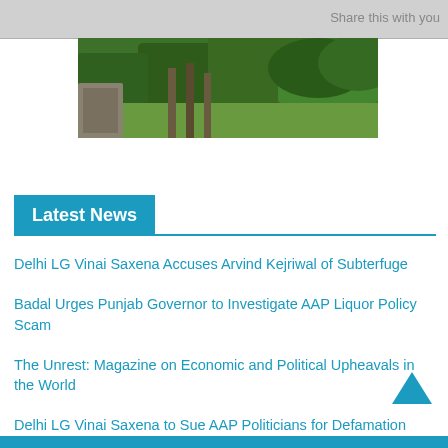Share this with you
[Figure (photo): Outdoor nature/village scene with greenery and rustic structures]
Latest News
Delhi LG Vinai Saxena Accuses Arvind Kejriwal of Subterfuge
Badal Urges Punjab Governor to Investigate AAP Liquor Policy Scam
The Unrest: Magazine on Economic and Political Upheavals in the World
Delhi LG Vinai Saxena to Sue AAP Politicians for Defamation
Delhi LG Urged to Probe AAP Claims of MLA Shopping by BJP